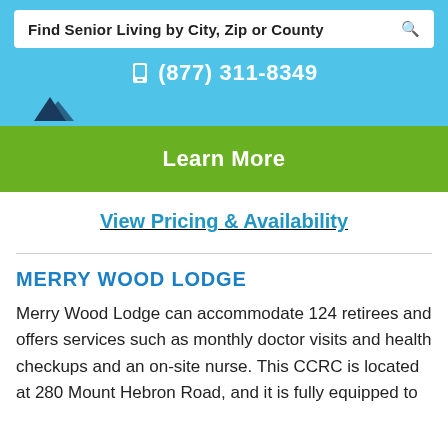Find Senior Living by City, Zip or County
(877) 311-8349
Learn More
View Pricing & Availability
MERRY WOOD LODGE
Merry Wood Lodge can accommodate 124 retirees and offers services such as monthly doctor visits and health checkups and an on-site nurse. This CCRC is located at 280 Mount Hebron Road, and it is fully equipped to